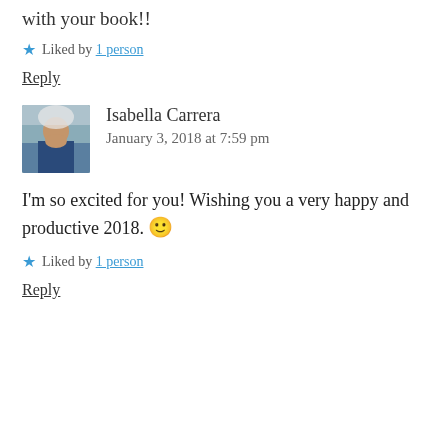with your book!!
★ Liked by 1 person
Reply
Isabella Carrera
January 3, 2018 at 7:59 pm
I'm so excited for you! Wishing you a very happy and productive 2018. 🙂
★ Liked by 1 person
Reply